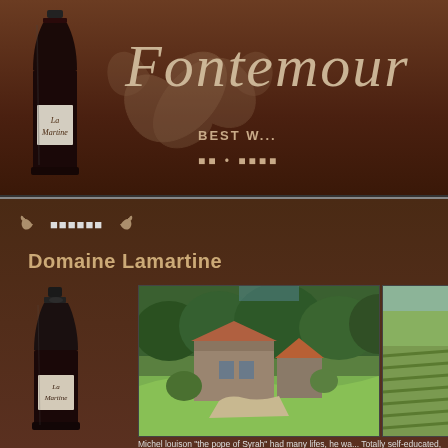Fontemour
Best w...
■■ • ■■■■
■■■■■■
Domaine Lamartine
[Figure (photo): Wine bottle of La Martine]
[Figure (photo): Aerial view of Domaine Lamartine estate with stone buildings, trees and green fields]
[Figure (photo): Partial view of vineyard]
Michel louison "the pope of Syrah" had many lifes, he wa... Totally self-educated, he abandoned a quiet and relative... of France from where his wife, Monique Louison, wo...